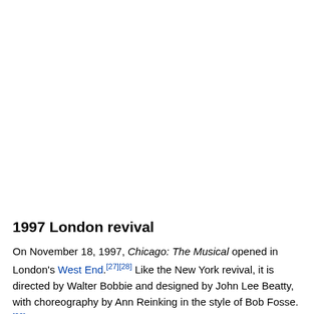1997 London revival
On November 18, 1997, Chicago: The Musical opened in London's West End.[27][28] Like the New York revival, it is directed by Walter Bobbie and designed by John Lee Beatty, with choreography by Ann Reinking in the style of Bob Fosse.[29] The show ran at the Adelphi Theatre for nine years until transferring to the Cambridge